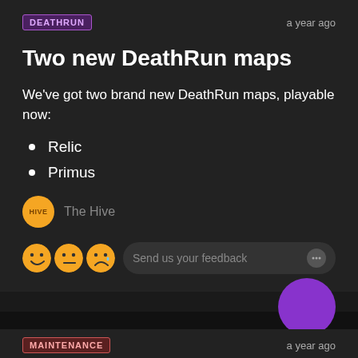DEATHRUN
a year ago
Two new DeathRun maps
We've got two brand new DeathRun maps, playable now:
Relic
Primus
The Hive
Send us your feedback
MAINTENANCE
a year ago